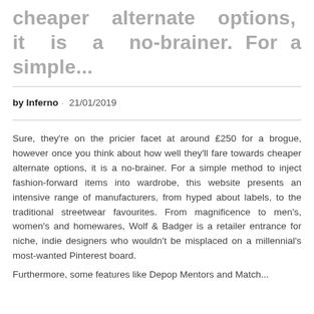cheaper alternate options, it is a no-brainer. For a simple...
by Inferno · 21/01/2019
Sure, they're on the pricier facet at around £250 for a brogue, however once you think about how well they'll fare towards cheaper alternate options, it is a no-brainer. For a simple method to inject fashion-forward items into wardrobe, this website presents an intensive range of manufacturers, from hyped about labels, to the traditional streetwear favourites. From magnificence to men's, women's and homewares, Wolf & Badger is a retailer entrance for niche, indie designers who wouldn't be misplaced on a millennial's most-wanted Pinterest board.
Furthermore, some features like Depop Mentors and Match...